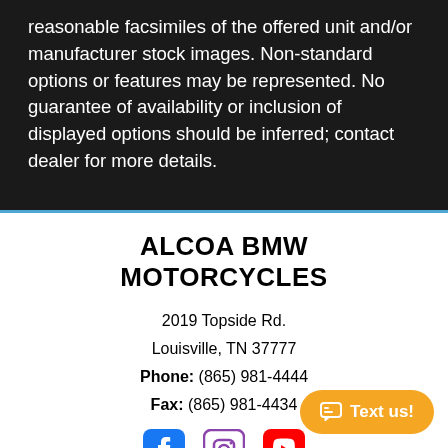reasonable facsimiles of the offered unit and/or manufacturer stock images. Non-standard options or features may be represented. No guarantee of availability or inclusion of displayed options should be inferred; contact dealer for more details.
ALCOA BMW MOTORCYCLES
2019 Topside Rd.
Louisville, TN 37777
Phone: (865) 981-4444
Fax: (865) 981-4434
[Figure (other): Social media icons: Facebook (blue), Instagram (purple), YouTube (red)]